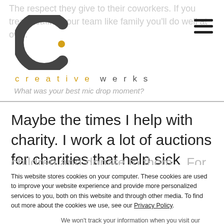The respect they give to their coworkers. If you treat treating your team like family you'll do well at ow...
[Figure (logo): Creative Werks logo — stylized dark grey C shape with a yellow dot]
[Figure (other): Hamburger menu icon (three horizontal bars)]
creative   werks
What was your best mic drop moment?
Maybe the times I help with charity. I work a lot of auctions for charities that help sick
This website stores cookies on your computer. These cookies are used to improve your website experience and provide more personalized services to you, both on this website and through other media. To find out more about the cookies we use, see our Privacy Policy.
We won't track your information when you visit our site. But in order to comply with your preferences, we'll have to use just one tiny cookie so that you're not asked to make this choice again.